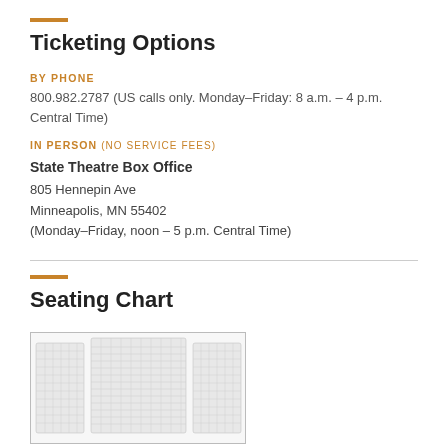Ticketing Options
BY PHONE
800.982.2787 (US calls only. Monday–Friday: 8 a.m. – 4 p.m. Central Time)
IN PERSON (NO SERVICE FEES)
State Theatre Box Office
805 Hennepin Ave
Minneapolis, MN 55402
(Monday–Friday, noon – 5 p.m. Central Time)
Seating Chart
[Figure (illustration): Theater seating chart diagram showing curved rows of seats with left, center, and right sections visible from above.]